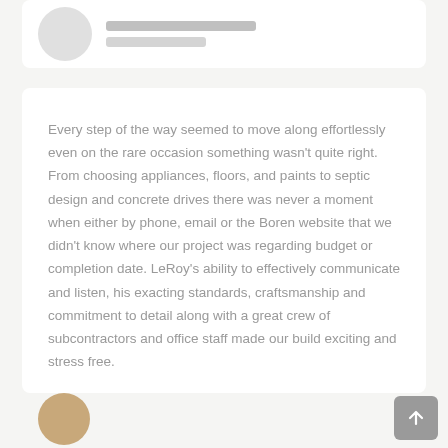[Figure (photo): Top portion of a review card showing a circular avatar (light gray) and a partially visible reviewer name in gray text]
Every step of the way seemed to move along effortlessly even on the rare occasion something wasn't quite right. From choosing appliances, floors, and paints to septic design and concrete drives there was never a moment when either by phone, email or the Boren website that we didn't know where our project was regarding budget or completion date. LeRoy's ability to effectively communicate and listen, his exacting standards, craftsmanship and commitment to detail along with a great crew of subcontractors and office staff made our build exciting and stress free.
[Figure (photo): Bottom portion showing a circular avatar with a warm brown/tan color, partially cropped]